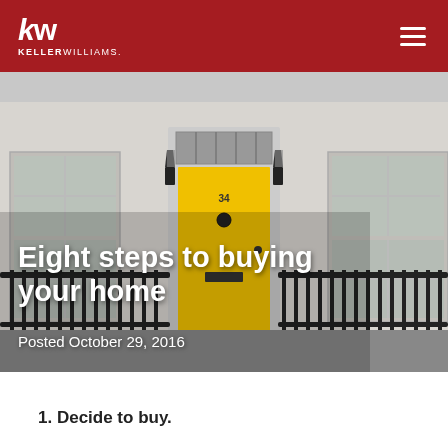KELLERWILLIAMS.
[Figure (photo): Exterior photo of a white townhouse with a bright yellow front door numbered 34, black iron railings and gate in foreground, two wall-mounted lanterns flanking the door, large sash windows on either side. Photo is in muted grey tones with the yellow door as the focal point.]
Eight steps to buying your home
Posted October 29, 2016
1. Decide to buy.